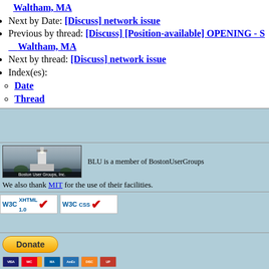Waltham, MA
Next by Date: [Discuss] network issue
Previous by thread: [Discuss] [Position-available] OPENING - S... Waltham, MA
Next by thread: [Discuss] network issue
Index(es):
Date
Thread
[Figure (logo): Boston User Groups, Inc. logo with lighthouse image]
BLU is a member of BostonUserGroups
We also thank MIT for the use of their facilities.
[Figure (logo): W3C XHTML 1.0 validation badge]
[Figure (logo): W3C CSS validation badge]
[Figure (infographic): PayPal Donate button with payment card icons (Visa, Mastercard, Maestro, AmEx, Discover, UnionPay)]
Boston Linux & Unix / webmaster@blu.org